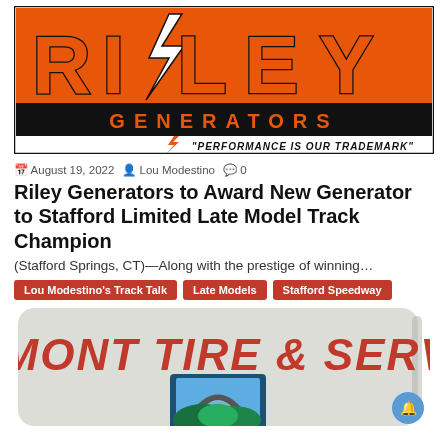[Figure (logo): Riley Generators logo with large orange letters on white/black background, with lightning bolt through letter A, black bar with orange GENERATORS text, and tagline 'PERFORMANCE IS OUR TRADEMARK']
August 19, 2022  Lou Modestino  0
Riley Generators to Award New Generator to Stafford Limited Late Model Track Champion
(Stafford Springs, CT)—Along with the prestige of winning...
Lou Modestino's Track Talk
Late Models
Stafford Speedway
[Figure (logo): Vermont Tire & Service logo with red italic text on light gray rounded rectangle background, with a circular icon showing a tire/arch with teal and green mountain landscape]